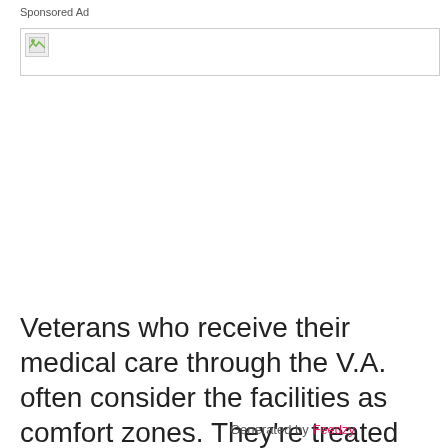Sponsored Ad
[Figure (other): Broken image placeholder inside a bordered ad box]
Veterans who receive their medical care through the V.A. often consider the facilities as comfort zones. They're treated with respect and It's not unusual to overhear war
Generated by Feedzy